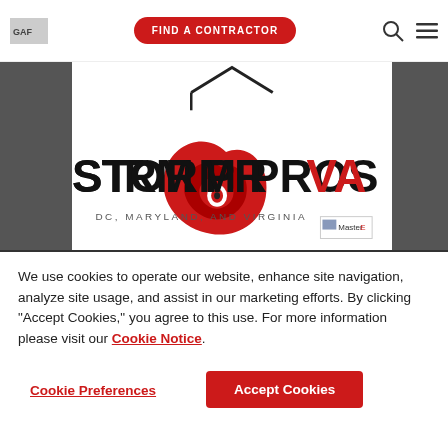[Figure (logo): GAF logo text in top left of navigation bar]
[Figure (other): Red oval button labeled FIND A CONTRACTOR in navigation bar]
[Figure (logo): Storm Pros VA logo with spiral storm graphic and text DC, MARYLAND, AND VIRGINIA on white background between two dark grey side panels. Master Elite badge visible bottom right.]
We use cookies to operate our website, enhance site navigation, analyze site usage, and assist in our marketing efforts. By clicking "Accept Cookies," you agree to this use. For more information please visit our Cookie Notice.
Cookie Preferences
Accept Cookies